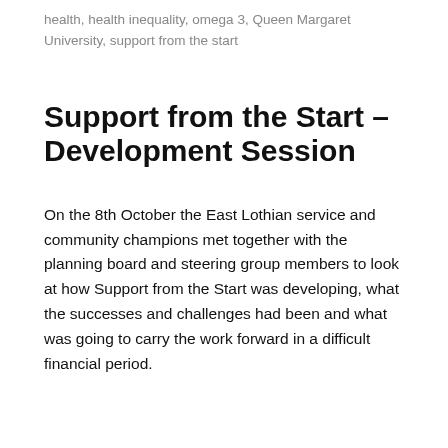health, health inequality, omega 3, Queen Margaret University, support from the start
Support from the Start – Development Session
On the 8th October the East Lothian service and community champions met together with the planning board and steering group members to look at how Support from the Start was developing, what the successes and challenges had been and what was going to carry the work forward in a difficult financial period.